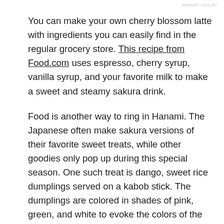REPORT THIS AD
You can make your own cherry blossom latte with ingredients you can easily find in the regular grocery store. This recipe from Food.com uses espresso, cherry syrup, vanilla syrup, and your favorite milk to make a sweet and steamy sakura drink.
Food is another way to ring in Hanami. The Japanese often make sakura versions of their favorite sweet treats, while other goodies only pop up during this special season. One such treat is dango, sweet rice dumplings served on a kabob stick. The dumplings are colored in shades of pink, green, and white to evoke the colors of the sakura tree.
You can make your own dango with this recipe from Japan Centre. The recipe does call for some specialty ingredients, like glutinous and non-glutinous rice flour, which can be found at an Asian grocery store. You